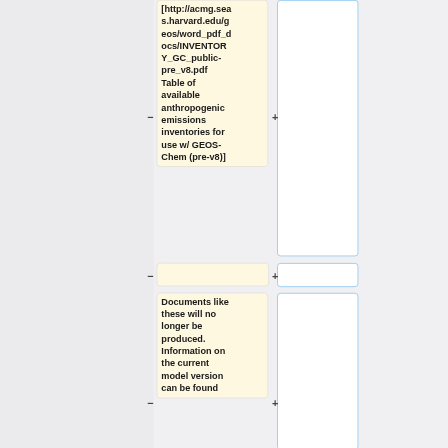[http://acmg.seas.harvard.edu/geos/word_pdf_docs/INVENTORY_GC_public-pre_v8.pdf Table of available anthropogenic emissions inventories for use w/ GEOS-Chem (pre-v8)]
Documents like these will no longer be produced. Information on the current model version can be found